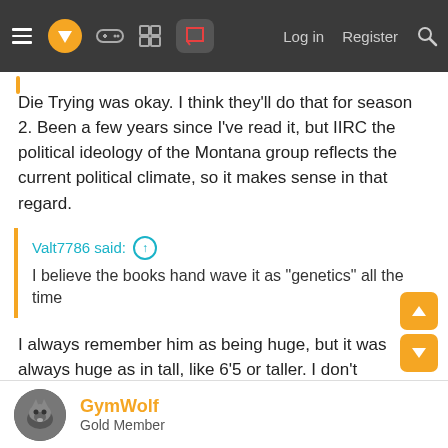Navigation bar with menu, logo, icons, Log in, Register, Search
Die Trying was okay. I think they'll do that for season 2. Been a few years since I've read it, but IIRC the political ideology of the Montana group reflects the current political climate, so it makes sense in that regard.
Valt7786 said: ↑ I believe the books hand wave it as "genetics" all the time
I always remember him as being huge, but it was always huge as in tall, like 6'5 or taller. I don't remember anywhere him being mentioned as looking like a Greek God?
GymWolf
Gold Member